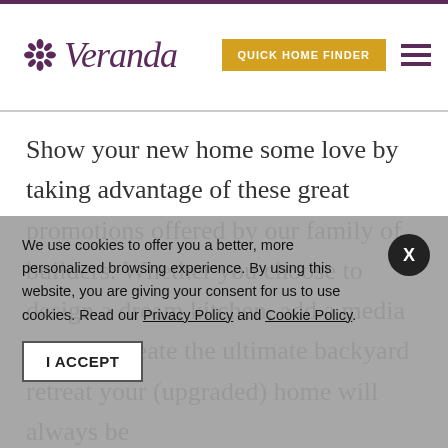Veranda | QUICK HOME FINDER
Show your new home some love by taking advantage of these great promotions offered by our family of builders. Whether you choose to design a dream kitchen, add a media room or create the ultimate backyard retreat your (upgraded) home will always be
We use cookies to offer you a better, more personalized browsing experience. By using this website, you are giving your consent for us to use cookies. Read our Privacy Policy and Cookie Policy.
I ACCEPT